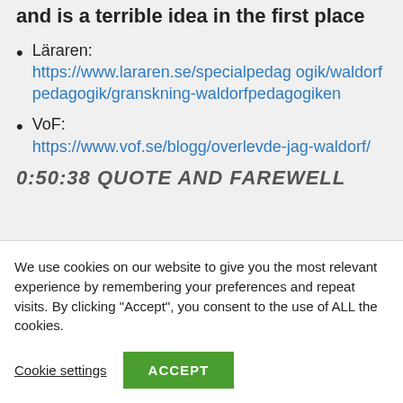…and is a terrible idea in the first place
Läraren: https://www.lararen.se/specialpedagogik/waldorfpedagogik/granskning-waldorfpedagogiken
VoF: https://www.vof.se/blogg/overlevde-jag-waldorf/
0:50:38 QUOTE AND FAREWELL
We use cookies on our website to give you the most relevant experience by remembering your preferences and repeat visits. By clicking "Accept", you consent to the use of ALL the cookies.
Cookie settings
ACCEPT